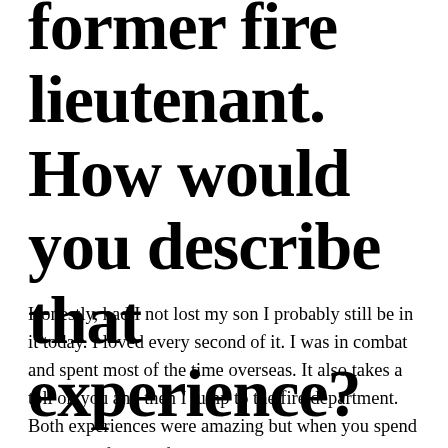former fire lieutenant. How would you describe that experience?
Honestly, had I not lost my son I probably still be in it today. I loved every second of it. I was in combat and spent most of the time overseas. It also takes a toll on you and then I jump to the fire department. Both experiences were amazing but when you spend 17 years of your life seeing nothing but the worst and the best in people it wears you down and that is when I decided to retire. August of 2019, we had 3 bad calls in a row and I said I don't want to do this anymore. I can at least sit in